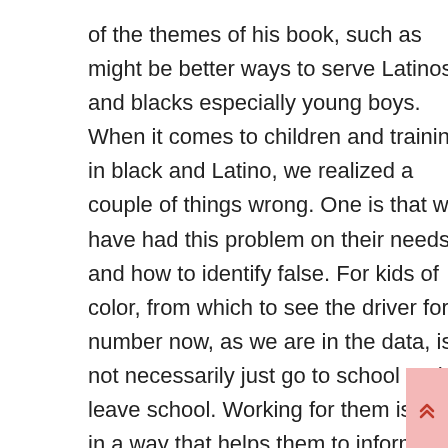of the themes of his book, such as might be better ways to serve Latinos and blacks especially young boys. When it comes to children and training in black and Latino, we realized a couple of things wrong. One is that we have had this problem on their needs and how to identify false. For kids of color, from which to see the driver for a number now, as we are in the data, is not necessarily just go to school and leave school. Working for them is right in a way that helps them to inform and inspire a driver to complete academic reality. That’s one thing. The second thing we talk about is not enough that the work for kids of color part of an identity, no matter. What does it mean? It means that when I see my family … people around me work may have that are not necessarily white collar, but the way in which the eyes of the family to work, the way in which ethics is a unit